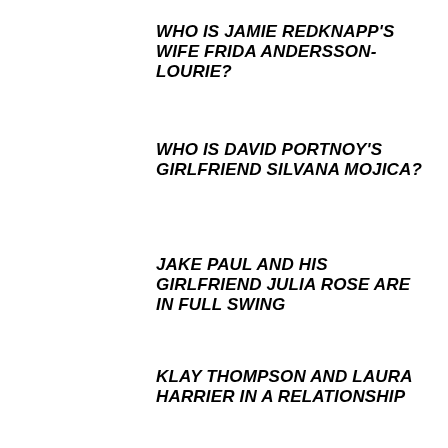WHO IS JAMIE REDKNAPP'S WIFE FRIDA ANDERSSON-LOURIE?
WHO IS DAVID PORTNOY'S GIRLFRIEND SILVANA MOJICA?
JAKE PAUL AND HIS GIRLFRIEND JULIA ROSE ARE IN FULL SWING
KLAY THOMPSON AND LAURA HARRIER IN A RELATIONSHIP